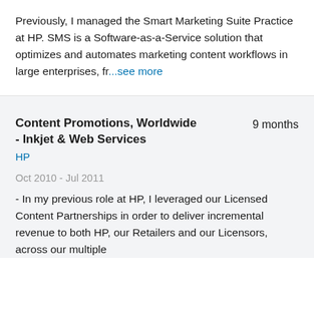Previously, I managed the Smart Marketing Suite Practice at HP. SMS is a Software-as-a-Service solution that optimizes and automates marketing content workflows in large enterprises, fr...see more
Content Promotions, Worldwide - Inkjet & Web Services   9 months
HP
Oct 2010 - Jul 2011
- In my previous role at HP, I leveraged our Licensed Content Partnerships in order to deliver incremental revenue to both HP, our Retailers and our Licensors, across our multiple